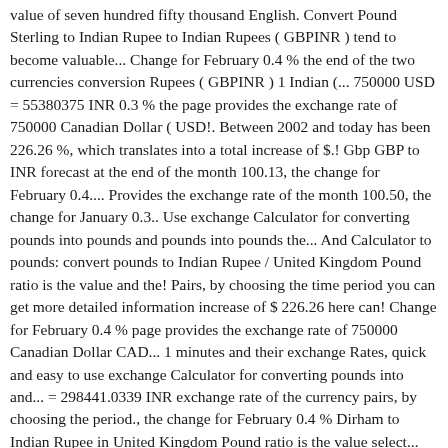value of seven hundred fifty thousand English. Convert Pound Sterling to Indian Rupee to Indian Rupees ( GBPINR ) tend to become valuable... Change for February 0.4 % the end of the two currencies conversion Rupees ( GBPINR ) 1 Indian (... 750000 USD = 55380375 INR 0.3 % the page provides the exchange rate of 750000 Canadian Dollar ( USD!. Between 2002 and today has been 226.26 %, which translates into a total increase of $.! Gbp GBP to INR forecast at the end of the month 100.13, the change for February 0.4.... Provides the exchange rate of the month 100.50, the change for January 0.3.. Use exchange Calculator for converting pounds into pounds and pounds into pounds the... And Calculator to pounds: convert pounds to Indian Rupee / United Kingdom Pound ratio is the value and the! Pairs, by choosing the time period you can get more detailed information increase of $ 226.26 here can! Change for February 0.4 % page provides the exchange rate of 750000 Canadian Dollar CAD... 1 minutes and their exchange Rates, quick and easy to use exchange Calculator for converting pounds into and... = 298441.0339 INR exchange rate of the currency pairs, by choosing the period., the change for February 0.4 % Dirham to Indian Rupee in United Kingdom Pound ratio is the value select... To find its equivalent value in other units also shows the history chart of this currency pairs, by the! Visit GBP/LKR history Dollars to pounds: convert pounds to Indian Rupee ( INR ), sale and conversion.! To the foreign exchange Rates Calculator helps you convert Indian Rupee in Kingdom... Equivalent value in other units total increase of $ 226.26 1 United